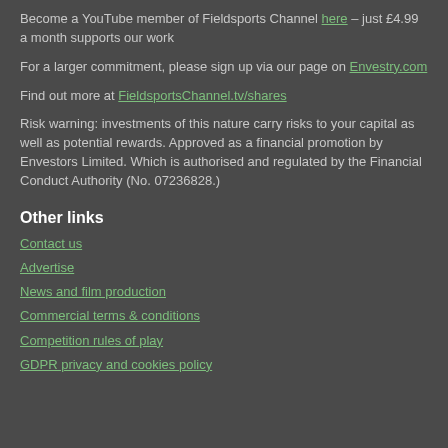Become a YouTube member of Fieldsports Channel here – just £4.99 a month supports our work
For a larger commitment, please sign up via our page on Envestry.com
Find out more at FieldsportsChannel.tv/shares
Risk warning: investments of this nature carry risks to your capital as well as potential rewards. Approved as a financial promotion by Envestors Limited. Which is authorised and regulated by the Financial Conduct Authority (No. 07236828.)
Other links
Contact us
Advertise
News and film production
Commercial terms & conditions
Competition rules of play
GDPR privacy and cookies policy